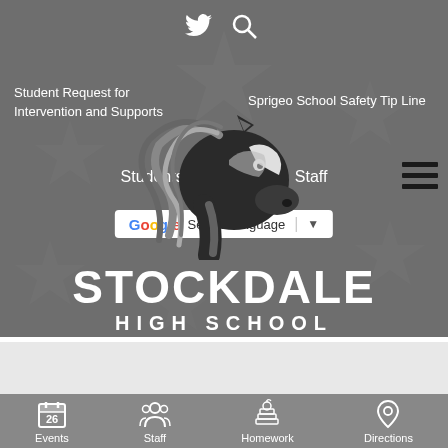[Figure (screenshot): Stockdale High School website screenshot showing navigation header with Twitter and search icons, Student Request for Intervention and Supports link, Sprigeo School Safety Tip Line link, Students/Parents/Staff navigation, Google Translate selector, hamburger menu, horse mascot logo, and school name.]
Student Request for Intervention and Supports
Sprigeo School Safety Tip Line
Students   Parents   Staff
Select Language
STOCKDALE HIGH SCHOOL
Events   Staff   Homework   Directions